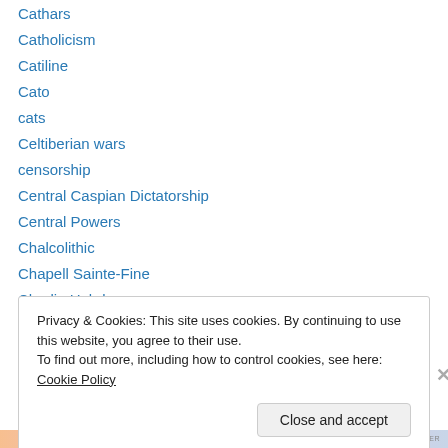Cathars
Catholicism
Catiline
Cato
cats
Celtiberian wars
censorship
Central Caspian Dictatorship
Central Powers
Chalcolithic
Chapell Sainte-Fine
Charlie Hebdo
Cheka
Privacy & Cookies: This site uses cookies. By continuing to use this website, you agree to their use. To find out more, including how to control cookies, see here: Cookie Policy
Close and accept